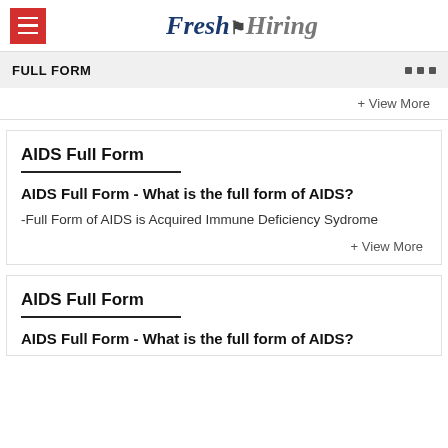Fresh Hiring
FULL FORM
+ View More
AIDS Full Form
AIDS Full Form - What is the full form of AIDS?
-Full Form of AIDS is Acquired Immune Deficiency Sydrome
+ View More
AIDS Full Form
AIDS Full Form - What is the full form of AIDS?